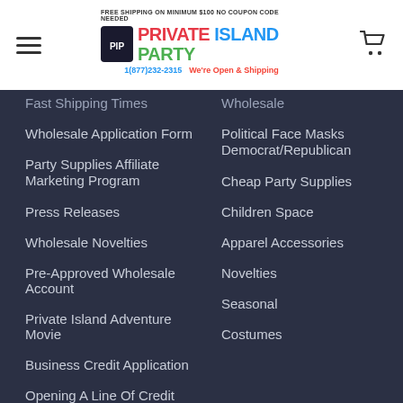Private Island Party — FREE SHIPPING ON MINIMUM $100 NO COUPON CODE NEEDED — 1(877)232-2315 — We're Open & Shipping
Fast Shipping Times
Wholesale
Wholesale Application Form
Political Face Masks Democrat/Republican
Party Supplies Affiliate Marketing Program
Cheap Party Supplies
Press Releases
Children Space
Wholesale Novelties
Apparel Accessories
Pre-Approved Wholesale Account
Novelties
Private Island Adventure Movie
Seasonal
Business Credit Application
Costumes
Opening A Line Of Credit
Infographic of 1920's History of Flappers and Gangsters
Articles and Top 10 Lists
"Self-Gifting", Or As Non-Sociopaths Call It: Shopping